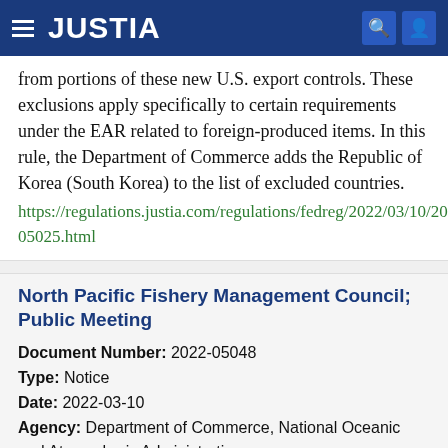JUSTIA
from portions of these new U.S. export controls. These exclusions apply specifically to certain requirements under the EAR related to foreign-produced items. In this rule, the Department of Commerce adds the Republic of Korea (South Korea) to the list of excluded countries.
https://regulations.justia.com/regulations/fedreg/2022/03/10/2022-05025.html
North Pacific Fishery Management Council; Public Meeting
Document Number: 2022-05048
Type: Notice
Date: 2022-03-10
Agency: Department of Commerce, National Oceanic and Atmospheric Administration
The North Pacific Fishery Management Council (Council)'s Enforcement Committee will hold a